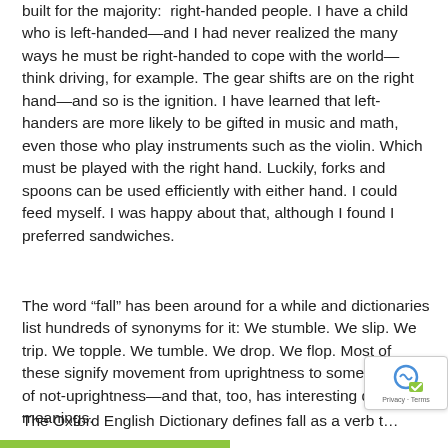built for the majority:  right-handed people. I have a child who is left-handed—and I had never realized the many ways he must be right-handed to cope with the world—think driving, for example. The gear shifts are on the right hand—and so is the ignition. I have learned that left-handers are more likely to be gifted in music and math, even those who play instruments such as the violin. Which must be played with the right hand. Luckily, forks and spoons can be used efficiently with either hand. I could feed myself. I was happy about that, although I found I preferred sandwiches.
The word “fall” has been around for a while and dictionaries list hundreds of synonyms for it: We stumble. We slip. We trip. We topple. We tumble. We drop. We flop. Most of these signify movement from uprightness to some degree of not-uprightness—and that, too, has interesting double meanings.
The Oxford English Dictionary defines fall as a verb t…